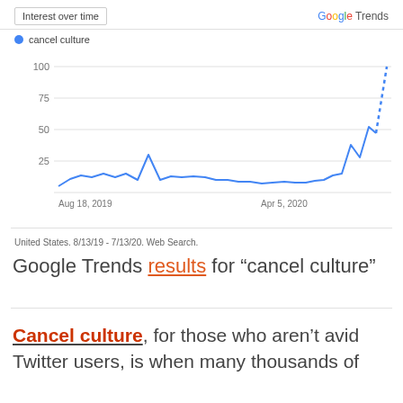[Figure (line-chart): Google Trends line chart showing interest over time for 'cancel culture' from Aug 18, 2019 to Jul 2020. Values are low (~5-15) from Aug 2019 through early 2020, with a spike to ~30 around late 2019, then a sharp rise starting in mid-2020 reaching 100 with a dotted upward projection.]
United States. 8/13/19 - 7/13/20. Web Search.
Google Trends results for “cancel culture”
Cancel culture, for those who aren't avid Twitter users, is when many thousands of